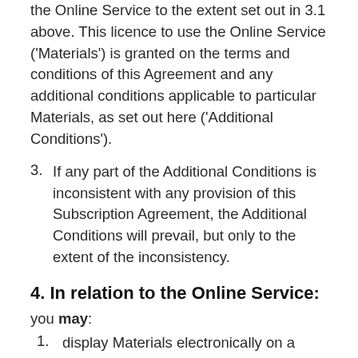the Online Service to the extent set out in 3.1 above. This licence to use the Online Service ('Materials') is granted on the terms and conditions of this Agreement and any additional conditions applicable to particular Materials, as set out here ('Additional Conditions').
3. If any part of the Additional Conditions is inconsistent with any provision of this Subscription Agreement, the Additional Conditions will prevail, but only to the extent of the inconsistency.
4. In relation to the Online Service:
you may:
1. display Materials electronically on a single computer or mobile device to one person at any one time;